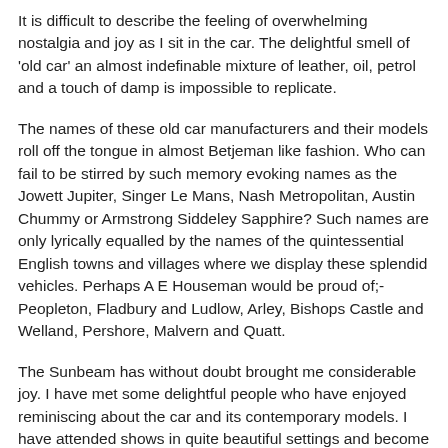It is difficult to describe the feeling of overwhelming nostalgia and joy as I sit in the car. The delightful smell of 'old car' an almost indefinable mixture of leather, oil, petrol and a touch of damp is impossible to replicate.
The names of these old car manufacturers and their models roll off the tongue in almost Betjeman like fashion. Who can fail to be stirred by such memory evoking names as the Jowett Jupiter, Singer Le Mans, Nash Metropolitan, Austin Chummy or Armstrong Siddeley Sapphire? Such names are only lyrically equalled by the names of the quintessential English towns and villages where we display these splendid vehicles. Perhaps A E Houseman would be proud of;- Peopleton, Fladbury and Ludlow, Arley, Bishops Castle and Welland, Pershore, Malvern and Quatt.
The Sunbeam has without doubt brought me considerable joy. I have met some delightful people who have enjoyed reminiscing about the car and its contemporary models. I have attended shows in quite beautiful settings and become an avid analyst of weather forecasts in an attempt to spare the Sunbeam the ignominy of getting wet.